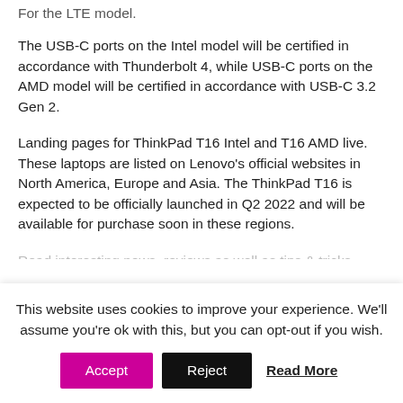For the LTE model.
The USB-C ports on the Intel model will be certified in accordance with Thunderbolt 4, while USB-C ports on the AMD model will be certified in accordance with USB-C 3.2 Gen 2.
Landing pages for ThinkPad T16 Intel and T16 AMD live. These laptops are listed on Lenovo's official websites in North America, Europe and Asia. The ThinkPad T16 is expected to be officially launched in Q2 2022 and will be available for purchase soon in these regions.
Read interesting news, reviews as well as tips & tricks...
This website uses cookies to improve your experience. We'll assume you're ok with this, but you can opt-out if you wish.